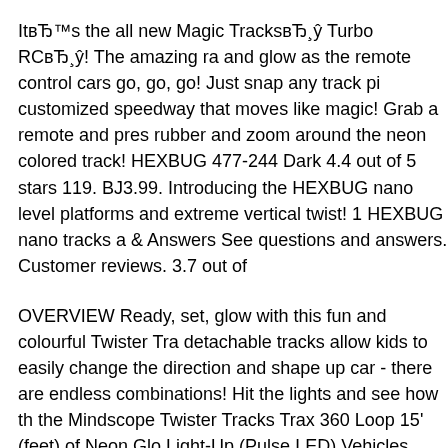ItвЂ™s the all new Magic TracksвЂ¸ŷ Turbo RCвЂ¸ŷ! The amazing ra and glow as the remote control cars go, go, go! Just snap any track pi customized speedway that moves like magic! Grab a remote and pres rubber and zoom around the neon colored track! HEXBUG 477-2440 Dark 4.4 out of 5 stars 119. BJ3.99. Introducing the HEXBUG nano level platforms and extreme vertical twist! 1 HEXBUG nano tracks a & Answers See questions and answers. Customer reviews. 3.7 out of
OVERVIEW Ready, set, glow with this fun and colourful Twister Tra detachable tracks allow kids to easily change the direction and shape up car - there are endless combinations! Hit the lights and see how th the Mindscope Twister Tracks Trax 360 Loop 15' (feet) of Neon Glo Light-Up (Pulse LED) Vehicles Emergency Vehicle Series marked do $29.90 and it ships for FREE with your Prime Membership or any $4 nephewвЂ¦
20/11/2013В В· Shop Mindscope Neon Glow Twister Tracks TT255 System. Free delivery and returns on eligible orders of BJ20 or more 30GI 30 nano Glow in the Dark 4.4 out of 5 stars 119. BJ3.99. Intr